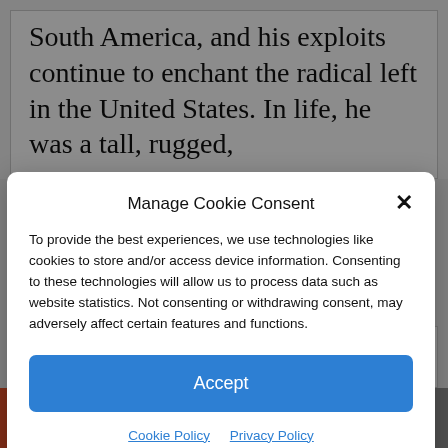South America, and his exploits continue to enchant the radical left in the United States. In life, he was a tall, rugged,
Manage Cookie Consent
To provide the best experiences, we use technologies like cookies to store and/or access device information. Consenting to these technologies will allow us to process data such as website statistics. Not consenting or withdrawing consent, may adversely affect certain features and functions.
Accept
Cookie Policy   Privacy Policy
he was summarily executed.